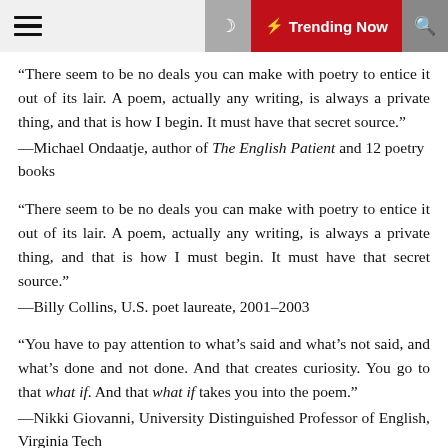Trending Now
“There seem to be no deals you can make with poetry to entice it out of its lair. A poem, actually any writing, is always a private thing, and that is how I begin. It must have that secret source.” —Michael Ondaatje, author of The English Patient and 12 poetry books
“There seem to be no deals you can make with poetry to entice it out of its lair. A poem, actually any writing, is always a private thing, and that is how I must begin. It must have that secret source.” —Billy Collins, U.S. poet laureate, 2001–2003
“You have to pay attention to what’s said and what’s not said, and what’s done and not done. And that creates curiosity. You go to that what if. And that what if takes you into the poem.” —Nikki Giovanni, University Distinguished Professor of English, Virginia Tech